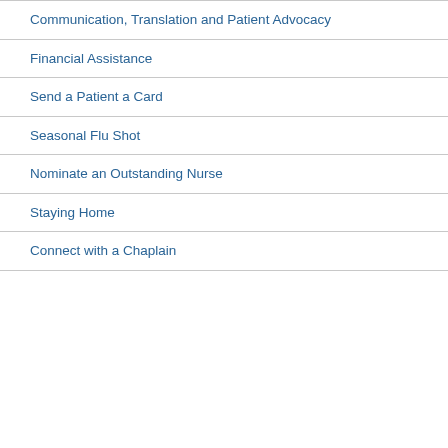Communication, Translation and Patient Advocacy
Financial Assistance
Send a Patient a Card
Seasonal Flu Shot
Nominate an Outstanding Nurse
Staying Home
Connect with a Chaplain